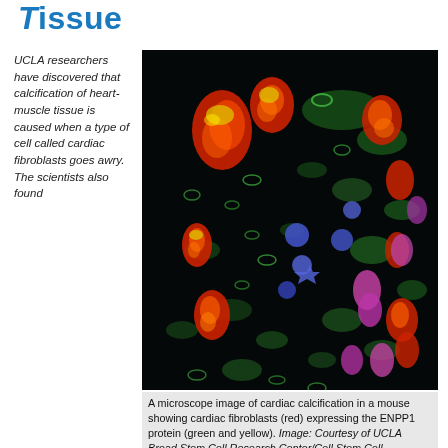Tissue
UCLA researchers have discovered that calcification of heart-muscle tissue is caused when a type of cell called cardiac fibroblasts goes awry. The scientists also found
[Figure (photo): Fluorescence microscope image of cardiac calcification in a mouse, showing cardiac fibroblasts in red, ENPP1 protein in green and yellow, on a black background.]
A microscope image of cardiac calcification in a mouse showing cardiac fibroblasts (red) expressing the ENPP1 protein (green and yellow). Image: Courtesy of UCLA Broad Stem Cell Research Center/Cell Stem Cell